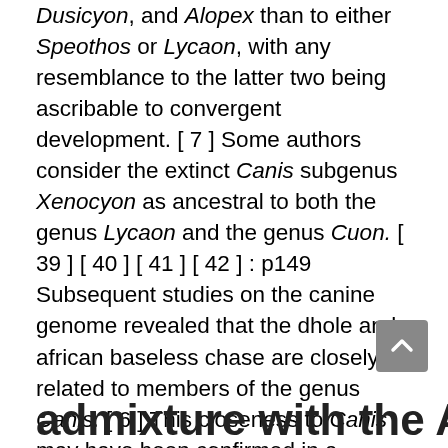Dusicyon, and Alopex than to either Speothos or Lycaon, with any resemblance to the latter two being ascribable to convergent development. [ 7 ] Some authors consider the extinct Canis subgenus Xenocyon as ancestral to both the genus Lycaon and the genus Cuon. [ 39 ] [ 40 ] [ 41 ] [ 42 ] : p149 Subsequent studies on the canine genome revealed that the dhole and african baseless chase are closely related to members of the genus Canis. [ 6 ] This closeness to Canis may have been confirmed in a menagerie in Madras, where according to zoologist Reginald Innes Pocock there is a record of a dhole that interbred with a golden jackal. [ 43 ]
admixture with the African